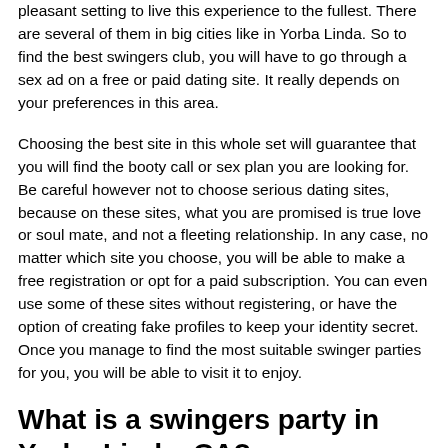pleasant setting to live this experience to the fullest. There are several of them in big cities like in Yorba Linda. So to find the best swingers club, you will have to go through a sex ad on a free or paid dating site. It really depends on your preferences in this area.
Choosing the best site in this whole set will guarantee that you will find the booty call or sex plan you are looking for. Be careful however not to choose serious dating sites, because on these sites, what you are promised is true love or soul mate, and not a fleeting relationship. In any case, no matter which site you choose, you will be able to make a free registration or opt for a paid subscription. You can even use some of these sites without registering, or have the option of creating fake profiles to keep your identity secret. Once you manage to find the most suitable swinger parties for you, you will be able to visit it to enjoy.
What is a swingers party in Yorba Linda, CA?
A swinger party is an establishment specially designed to welcome couples and singles who wish to enjoy the sex life. It